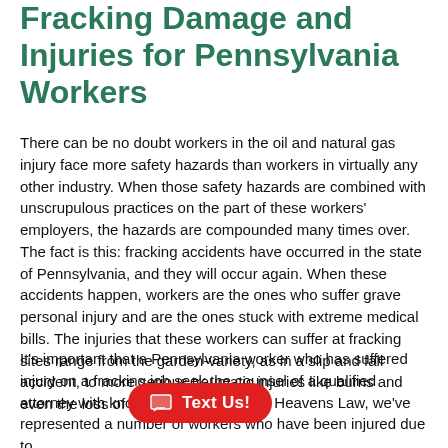Fracking Damage and Injuries for Pennsylvania Workers
There can be no doubt workers in the oil and natural gas injury face more safety hazards than workers in virtually any other industry. When those safety hazards are combined with unscrupulous practices on the part of these workers' employers, the hazards are compounded many times over. The fact is this: fracking accidents have occurred in the state of Pennsylvania, and they will occur again. When these accidents happen, workers are the ones who suffer grave personal injury and are the ones stuck with extreme medical bills. The injuries that these workers can suffer at fracking sites range from the garden-variety, as in a slip and fall accident, to more serious traumatic injuries like burns and even the loss of life.
It's important that a Pennsylvania worker who has suffered injury on a fracking job seek the counsel of a qualified attorney with knowledge of the law. At Heavens Law, we've represented a number of workers who have been injured due to